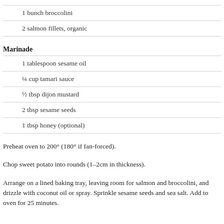1 bunch broccolini
2 salmon fillets, organic
Marinade
1 tablespoon sesame oil
¼ cup tamari sauce
½ tbsp dijon mustard
2 tbsp sesame seeds
1 tbsp honey (optional)
Preheat oven to 200° (180° if fan-forced).
Chop sweet potato into rounds (1–2cm in thickness).
Arrange on a lined baking tray, leaving room for salmon and broccolini, and drizzle with coconut oil or spray. Sprinkle sesame seeds and sea salt. Add to oven for 25 minutes.